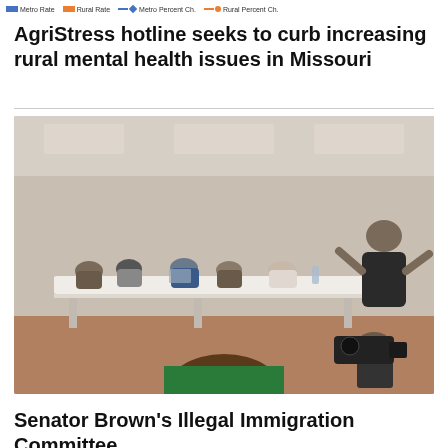[Figure (other): Legend bar showing Metro Rate (blue rectangle), Rural Rate (orange rectangle), Metro Percent Ch. (dashed line with diamond), Rural Percent Ch. (dashed line with dot)]
AgriStress hotline seeks to curb increasing rural mental health issues in Missouri
[Figure (photo): Photo of a meeting or panel discussion in a conference room. Several people are seated at a long table, with a man in a dark suit standing on the right gesturing. A woman with brown hair is in the foreground from behind, and a camera operator with a video camera is on the right side.]
Senator Brown's Illegal Immigration Committee